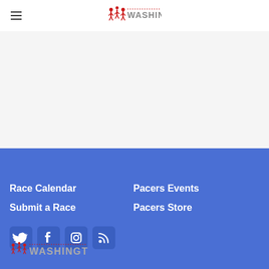[Figure (logo): Running Washington logo with runner figures in red and WASHINGTON text]
Race Calendar
Submit a Race
Pacers Events
Pacers Store
[Figure (illustration): Social media icons: Twitter bird, Facebook F, Instagram camera, RSS feed]
[Figure (logo): Running Washington footer logo]